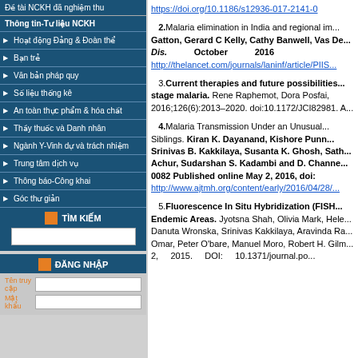Đề tài NCKH đã nghiệm thu
Thông tin-Tư liệu NCKH
Hoạt động Đảng & Đoàn thể
Bạn trẻ
Văn bản pháp quy
Số liệu thống kê
An toàn thực phẩm & hóa chất
Thầy thuốc và Danh nhân
Ngành Y-Vinh dự và trách nhiệm
Trung tâm dịch vụ
Thông báo-Công khai
Góc thư giản
TÌM KIẾM
ĐĂNG NHẬP
Tên truy cập
Mật khẩu
https://doi.org/10.1186/s12936-017-2141-0
2.Malaria elimination in India and regional im... Gatton, Gerard C Kelly, Cathy Banwell, Vas De... Dis. October 2016 http://thelancet.com/journals/laninf/article/PIIS...
3.Current therapies and future possibilities... stage malaria. Rene Raphemot, Dora Posfai, 2016;126(6):2013–2020. doi:10.1172/JCI82981. A...
4.Malaria Transmission Under an Unusual... Siblings. Kiran K. Dayanand, Kishore Punn... Srinivas B. Kakkilaya, Susanta K. Ghosh, Sath... Achur, Sudarshan S. Kadambi and D. Channe... 0082 Published online May 2, 2016, doi: http://www.ajtmh.org/content/early/2016/04/28/...
5.Fluorescence In Situ Hybridization (FISH... Endemic Areas. Jyotsna Shah, Olivia Mark, Hele... Danuta Wronska, Srinivas Kakkilaya, Aravinda Ra... Omar, Peter O'bare, Manuel Moro, Robert H. Gilm... 2, 2015. DOI: 10.1371/journal.po...